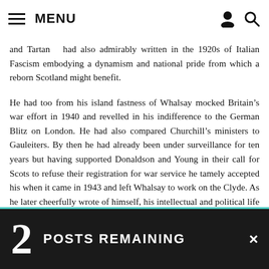MENU
and Tartan had also admirably written in the 1920s of Italian Fascism embodying a dynamism and national pride from which a reborn Scotland might benefit.
He had too from his island fastness of Whalsay mocked Britain’s war effort in 1940 and revelled in his indifference to the German Blitz on London. He had also compared Churchill’s ministers to Gauleiters. By then he had already been under surveillance for ten years but having supported Donaldson and Young in their call for Scots to refuse their registration for war service he tamely accepted his when it came in 1943 and left Whalsay to work on the Clyde. As he later cheerfully wrote of himself, his intellectual and political life had been akin to that of a volcano emitting a great deal of rubbish along the way and he also made amends with a fine poem inspired by the Second World War names on the
2 POSTS REMAINING ×